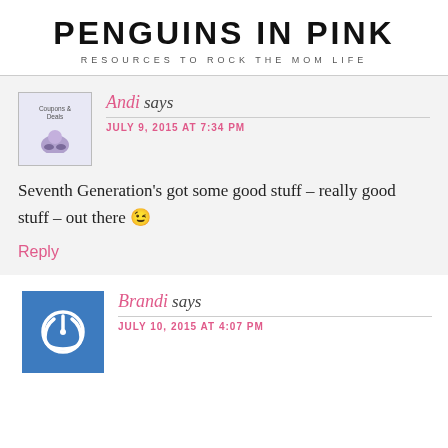PENGUINS IN PINK
RESOURCES TO ROCK THE MOM LIFE
Andi says
JULY 9, 2015 AT 7:34 PM
Seventh Generation’s got some good stuff – really good stuff – out there 😁
Reply
Brandi says
JULY 10, 2015 AT 4:07 PM